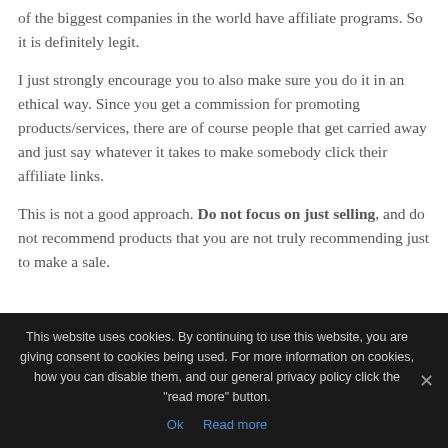of the biggest companies in the world have affiliate programs. So it is definitely legit.
I just strongly encourage you to also make sure you do it in an ethical way. Since you get a commission for promoting products/services, there are of course people that get carried away and just say whatever it takes to make somebody click their affiliate links.
This is not a good approach. Do not focus on just selling, and do not recommend products that you are not truly recommending just to make a sale.
This website uses cookies. By continuing to use this website, you are giving consent to cookies being used. For more information on cookies, how you can disable them, and our general privacy policy click the "read more" button.